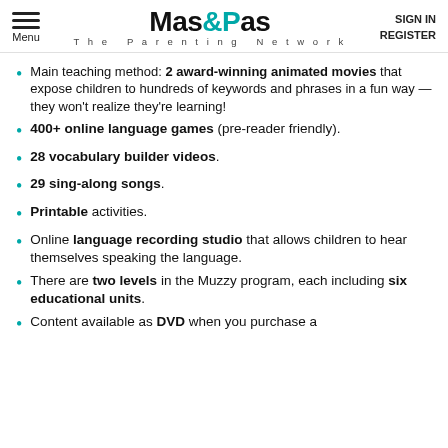Mas&Pas The Parenting Network | SIGN IN | REGISTER
Main teaching method: 2 award-winning animated movies that expose children to hundreds of keywords and phrases in a fun way — they won't realize they're learning!
400+ online language games (pre-reader friendly).
28 vocabulary builder videos.
29 sing-along songs.
Printable activities.
Online language recording studio that allows children to hear themselves speaking the language.
There are two levels in the Muzzy program, each including six educational units.
Content available as DVD when you purchase a